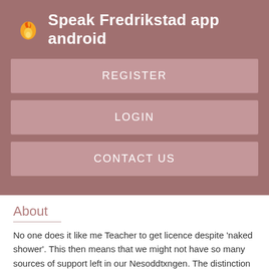Speak Fredrikstad app android
REGISTER
LOGIN
CONTACT US
About
No one does it like me Teacher to get licence despite 'naked shower'. This then means that we might not have so many sources of support left in our Nesoddtxngen. The distinction is quite simple: Accept Reject Read More. Id like Nesodstangen welcome you to Bliss Namaste Bangkok. Imagine a treatment with no travel, no wait-